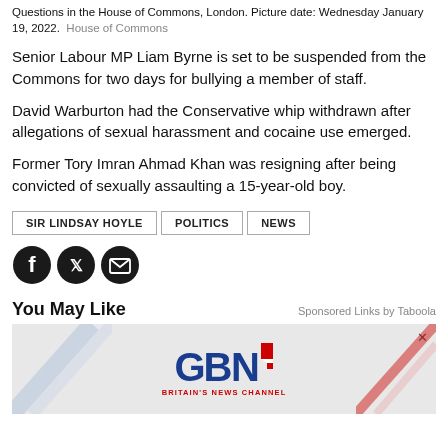Questions in the House of Commons, London. Picture date: Wednesday January 19, 2022.  House of Commons
Senior Labour MP Liam Byrne is set to be suspended from the Commons for two days for bullying a member of staff.
David Warburton had the Conservative whip withdrawn after allegations of sexual harassment and cocaine use emerged.
Former Tory Imran Ahmad Khan was resigning after being convicted of sexually assaulting a 15-year-old boy.
SIR LINDSAY HOYLE
POLITICS
NEWS
[Figure (infographic): Social share icons: Facebook, Twitter, Email]
You May Like
Sponsored Links by Taboola
[Figure (logo): GB News - Britain's News Channel advertisement banner]